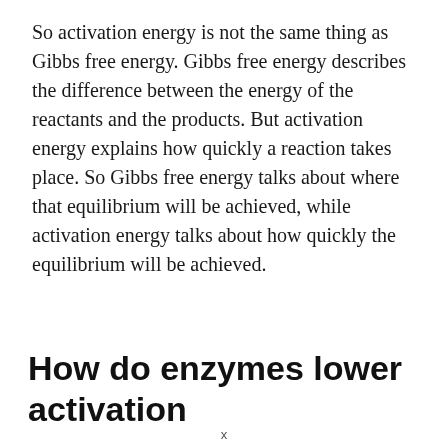So activation energy is not the same thing as Gibbs free energy. Gibbs free energy describes the difference between the energy of the reactants and the products. But activation energy explains how quickly a reaction takes place. So Gibbs free energy talks about where that equilibrium will be achieved, while activation energy talks about how quickly the equilibrium will be achieved.
How do enzymes lower activation energy?
x